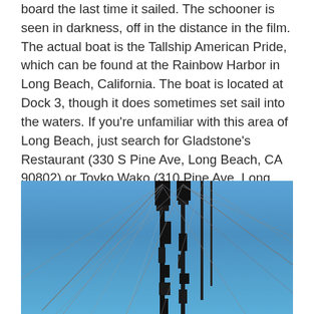board the last time it sailed.  The schooner is seen in darkness, off in the distance in the film.  The actual boat is the Tallship American Pride, which can be found at the Rainbow Harbor in Long Beach, California.  The boat is located at Dock 3, though it does sometimes set sail into the waters.  If you're unfamiliar with this area of Long Beach, just search for Gladstone's Restaurant (330 S Pine Ave, Long Beach, CA 90802) or Toyko Wako (310 Pine Ave, Long Beach, CA 90802) at the Long Beach Pike.  The pier and the boat are located directly behind them.
[Figure (photo): Photo of a tallship's masts and rigging against a clear blue sky, taken from below looking up. The masts are dark and tall with multiple rigging lines extending outward. Dark equipment and crow's nests are visible on the masts.]